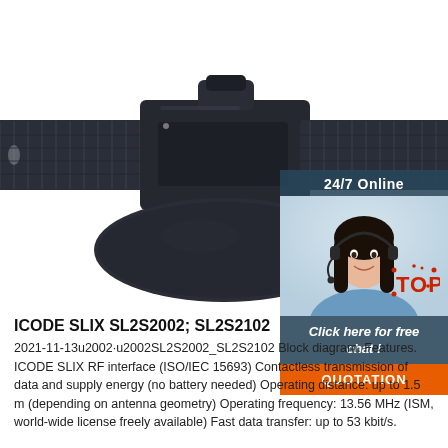[Figure (photo): Close-up photo of a dark navy/black RFID wristband with a circular disc module and woven nylon strap, shown from below against a white background.]
[Figure (infographic): 24/7 Online chat widget overlay in the top-right corner showing a female customer service representative with a headset, text 'Click here for free chat!', and an orange QUOTATION button.]
ICODE SLIX SL2S2002; SL2S2102
2021-11-13u2002·u2002SL2S2002_SL2S2102 Block diagram. Features. ICODE SLIX RF interface (ISO/IEC 15693) Contactless transmission of data and supply energy (no battery needed) Operating distance: up to 1.5 m (depending on antenna geometry) Operating frequency: 13.56 MHz (ISM, world-wide license freely available) Fast data transfer: up to 53 kbit/s.